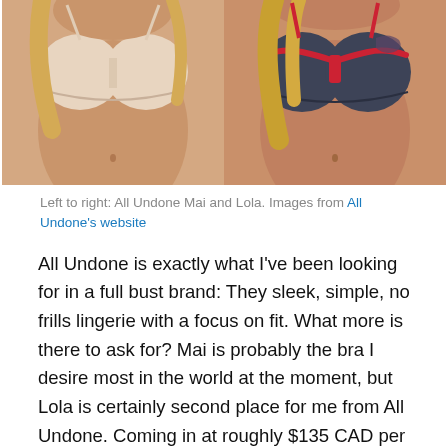[Figure (photo): Two product photos side by side showing lingerie models wearing bras: left model in a nude/beige strapless bra (All Undone Mai), right model in a dark navy and red bra (All Undone Lola).]
Left to right: All Undone Mai and Lola. Images from All Undone's website
All Undone is exactly what I've been looking for in a full bust brand: They sleek, simple, no frills lingerie with a focus on fit. What more is there to ask for? Mai is probably the bra I desire most in the world at the moment, but Lola is certainly second place for me from All Undone. Coming in at roughly $135 CAD per bra, these pretties are out of my budget at the moment, but I'm hoping to give them a try one day.  Size ranges from 28-24 DD-GG,